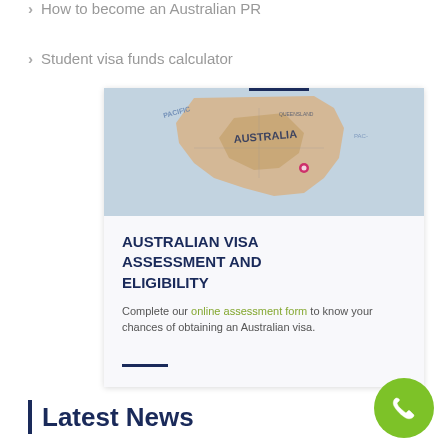> How to become an Australian PR
> Student visa funds calculator
[Figure (photo): Close-up photo of a globe/map showing Australia with a pin marker placed on Sydney area]
AUSTRALIAN VISA ASSESSMENT AND ELIGIBILITY
Complete our online assessment form to know your chances of obtaining an Australian visa.
Latest News